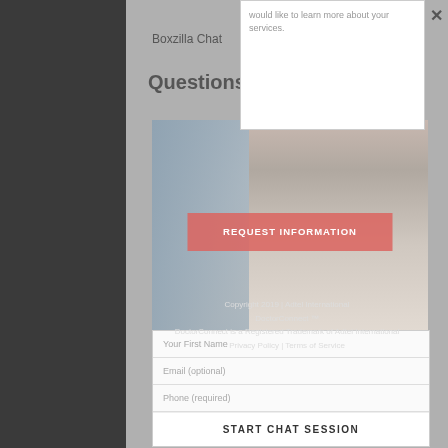would like to learn more about your services.
Boxzilla Chat
Questions? Let's Chat
[Figure (photo): Customer service representative wearing a headset, with blurred colleagues in background; red REQUEST INFORMATION button overlay]
Copyright 2019 | Adtel International DoctorConnect ™
DoctorConnect is a Registered Trademark of Adtel International
Privacy Policy | Terms of Service
Your First Name
Email (optional)
Phone (required)
START CHAT SESSION